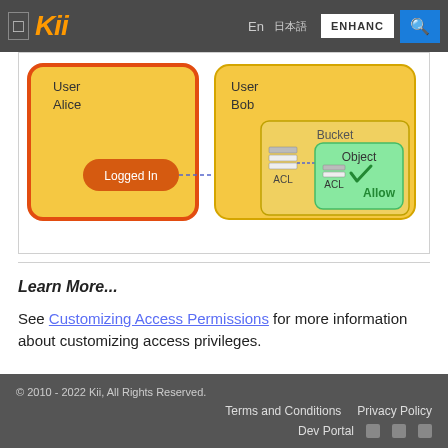Kii — En 日本語 ENHANC [search]
[Figure (infographic): Diagram showing User Alice (with red-orange border, yellow background) having a 'Logged In' state (orange pill label), connected via dashed arrow to User Bob's Bucket and Object. The Object's ACL shows 'Allow' with a green checkmark on green background inside a yellow Bucket box.]
Learn More...
See Customizing Access Permissions for more information about customizing access privileges.
© 2010 - 2022 Kii, All Rights Reserved.  Terms and Conditions  Privacy Policy  Dev Portal